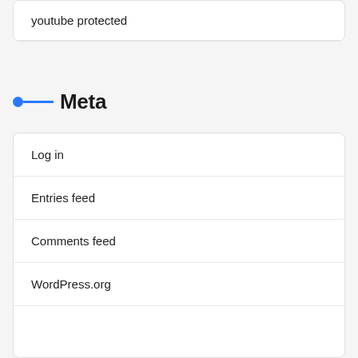youtube protected
Meta
Log in
Entries feed
Comments feed
WordPress.org